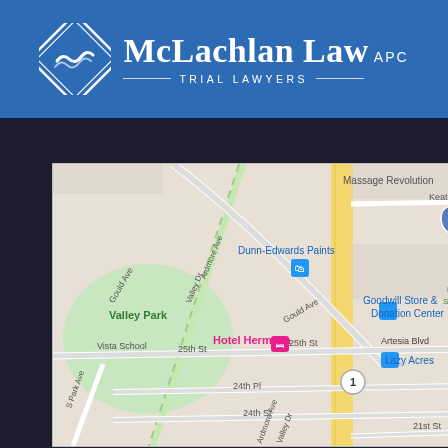[Figure (logo): McLachlan Law APC Trial Lawyers logo on blue banner — diamond shape with wave icon, white text firm name and subtitle]
[Figure (map): Google Maps screenshot showing street map of Hermosa Beach area including Valley Park, Vista School, Hotel Hermosa, Goodwill Store & Donation Center, Dunn-Edwards Paints, Massage Revolution, Lazy Acres, streets including Artesia Blvd, Gould Ave, 25th St, 24th Pl, 24th St, 21st St, Ardmore Ave, Valley Dr, S Park Ave]